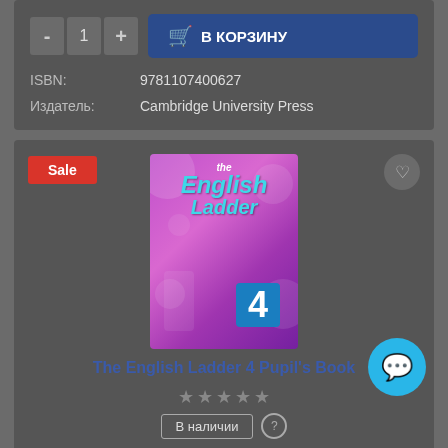ISBN: 9781107400627
Издатель: Cambridge University Press
[Figure (photo): Book cover of The English Ladder 4 Pupil's Book — purple/pink background with bubbles, teal illustrated title text, number 4 in blue box]
The English Ladder 4 Pupil's Book
★★★★★ (grey stars, no rating)
В наличии  ?
350 руб
В КОРЗИНУ (bottom button)